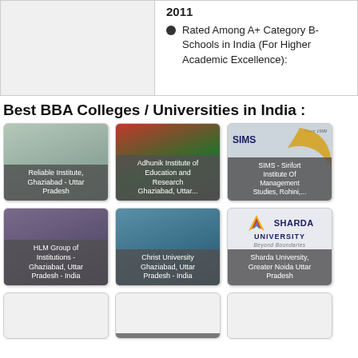2011
Rated Among A+ Category B-Schools in India (For Higher Academic Excellence):
Best BBA Colleges / Universities in India :
[Figure (photo): Reliable Institute, Ghaziabad - Uttar Pradesh]
[Figure (photo): Adhunik Institute of Education and Research Ghaziabad, Uttar...]
[Figure (photo): SIMS - Sirifort Institute Of Management Studies, Rohini,...]
[Figure (photo): HLM Group of Institutions - Ghaziabad, Uttar Pradesh - India]
[Figure (photo): Christ University Ghaziabad, Uttar Pradesh - India]
[Figure (photo): Sharda University, Greater Noida Uttar Pradesh]
[Figure (photo): Partial card 1 (bottom row)]
[Figure (photo): Partial card 2 (bottom row)]
[Figure (photo): Partial card 3 (bottom row)]